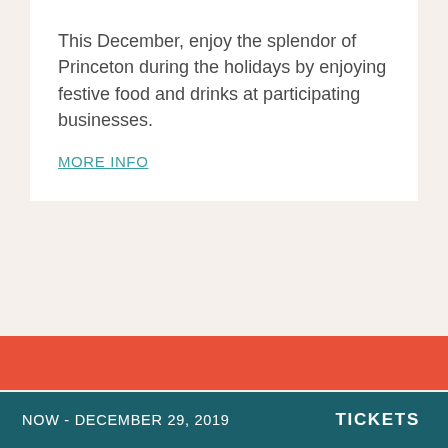This December, enjoy the splendor of Princeton during the holidays by enjoying festive food and drinks at participating businesses.
MORE INFO
[Figure (photo): Red/coral decorative background band]
CAST
[Figure (photo): Headshot photo of cast member Twinkle Burke]
Twinkle Burke*
NOW - DECEMBER 29, 2019   TICKETS